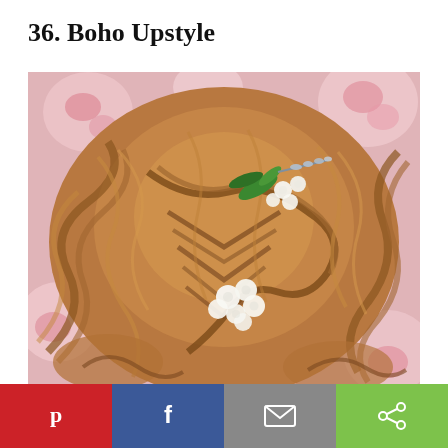36. Boho Upstyle
[Figure (photo): Close-up photo of a boho upstyle hairstyle — a fishtail braid and twisted updo on golden-brown hair, decorated with white hydrangea flowers and green eucalyptus sprigs, set against a pink floral background.]
Social sharing bar with Pinterest, Facebook, Email, and Share buttons